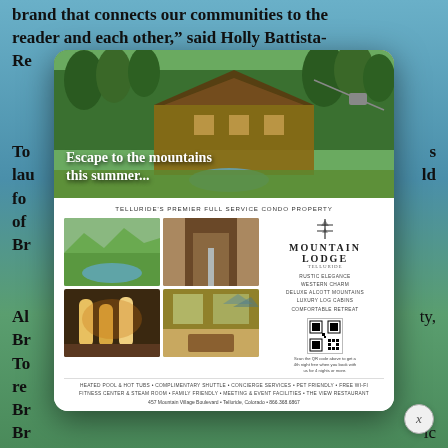brand that connects our communities to the reader and each other," said Holly Battista-Re... To... lau... fo... of...
[Figure (illustration): Advertisement card overlay on a magazine page background. Top section: aerial photo of a mountain lodge resort with pool and trees captioned 'Escape to the mountains this summer...'. Below: 'TELLURIDE'S PREMIER FULL SERVICE CONDO PROPERTY' heading with four property photos, Mountain Lodge Telluride logo, amenity list (Rustic Elegance, Western Charm, Deluxe Alcott Mountains, Luxury Log Cabins, Comfortable Retreat), QR code with offer text, amenities footer, and address. A close (x) button appears at bottom right.]
Br... mo... pr... Al... Br... To... re... Br... Br... ic sta...